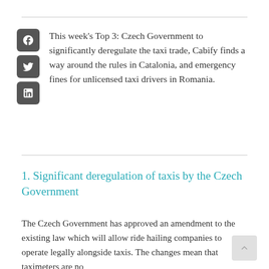[Figure (infographic): Three social media icon boxes: Facebook (f), Twitter (bird), LinkedIn (in), stacked vertically in dark grey rounded squares]
This week's Top 3: Czech Government to significantly deregulate the taxi trade, Cabify finds a way around the rules in Catalonia, and emergency fines for unlicensed taxi drivers in Romania.
1. Significant deregulation of taxis by the Czech Government
The Czech Government has approved an amendment to the existing law which will allow ride hailing companies to operate legally alongside taxis. The changes mean that taximeters are no